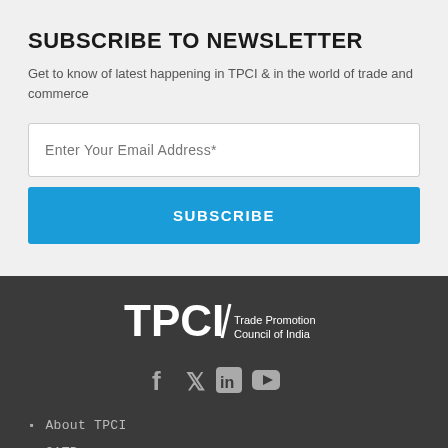SUBSCRIBE TO NEWSLETTER
Get to know of latest happening in TPCI & in the world of trade and commerce
Enter Your Email Address*
SUBSCRIBE
[Figure (logo): TPCI - Trade Promotion Council of India logo in white on dark background]
[Figure (other): Social media icons: Facebook, Twitter, LinkedIn, YouTube]
About TPCI
CATR
Contact US